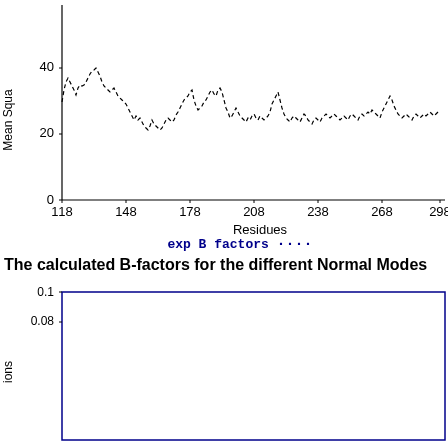[Figure (continuous-plot): Line chart showing Mean Square displacement vs Residues from 118 to 298. A dashed line shows experimental B factors with peaks around residues 118-148 (reaching ~40), around 178 (reaching ~27), around 208-218 (reaching ~28), around 248 (reaching ~29), around 268 (reaching ~30), and around 288 (reaching ~25). Y-axis labeled 'Mean Squa' (Mean Square) with ticks at 0, 20, 40. X-axis labeled 'Residues' with ticks at 118, 148, 178, 208, 238, 268, 298.]
exp B factors ....
The calculated B-factors for the different Normal Modes
[Figure (continuous-plot): Partial line chart showing contributions vs residues. Y-axis shows values 0.08 and 0.1. Only the top portion of the chart is visible. The plot area is mostly empty with a blue border.]